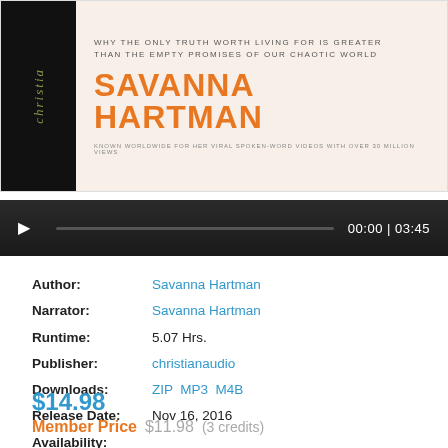[Figure (illustration): Audiobook cover with black spine showing 'christia' text and orange/cream cover area with subtitle text and author name SAVANNA HARTMAN in large orange letters]
[Figure (screenshot): Audio player bar with play button, progress bar, and time display showing 00:00 | 03:45]
Author: Savanna Hartman
Narrator: Savanna Hartman
Runtime: 5.07 Hrs.
Publisher: christianaudio
Downloads: ZIP MP3 M4B
Release Date: Nov 16, 2016
Availability:
$14.98
Member Price $11.98 (3 credits)